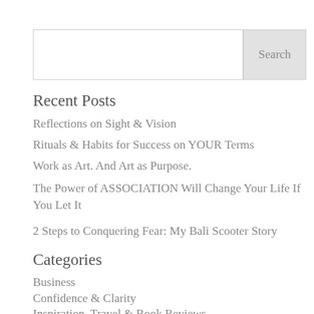[Figure (other): Search input box with Search button]
Recent Posts
Reflections on Sight & Vision
Rituals & Habits for Success on YOUR Terms
Work as Art. And Art as Purpose.
The Power of ASSOCIATION Will Change Your Life If You Let It
2 Steps to Conquering Fear: My Bali Scooter Story
Categories
Business
Confidence & Clarity
Inspiration, Travel & Book Reviews